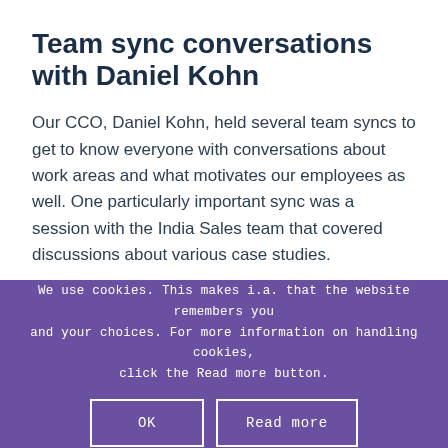Team sync conversations with Daniel Kohn
Our CCO, Daniel Kohn, held several team syncs to get to know everyone with conversations about work areas and what motivates our employees as well. One particularly important sync was a session with the India Sales team that covered discussions about various case studies.
We use cookies. This makes i.a. that the website remembers you and your choices. For more information on handling cookies, click the Read more button.